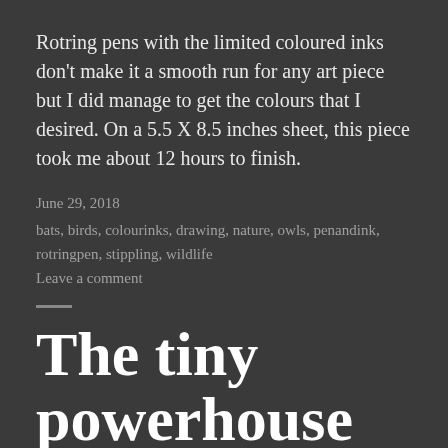Rotring pens with the limited coloured inks don't make it a smooth run for any art piece but I did manage to get the colours that I desired. On a 5.5 X 8.5 inches sheet, this piece took me about 12 hours to finish.
June 29, 2018
bats, birds, colourinks, drawing, nature, owls, penandink, rotringpen, stippling, wildlife
Leave a comment
The tiny powerhouse
Art, Blog, Sketching